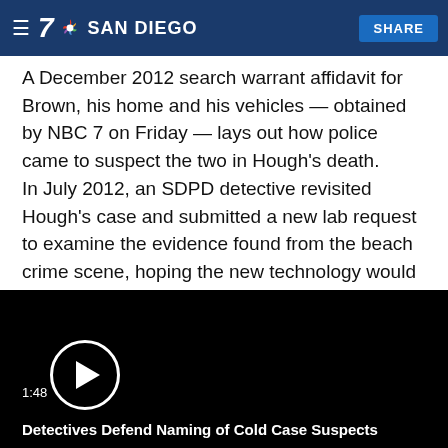NBC 7 San Diego — [hamburger menu] [NBC logo] SAN DIEGO [SHARE button]
A December 2012 search warrant affidavit for Brown, his home and his vehicles — obtained by NBC 7 on Friday — lays out how police came to suspect the two in Hough's death.
In July 2012, an SDPD detective revisited Hough's case and submitted a new lab request to examine the evidence found from the beach crime scene, hoping the new technology would yield better results.
[Figure (screenshot): Video player with black background, a white circle play button in the lower-left area, timestamp 1:48 and title 'Detectives Defend Naming of Cold Case Suspects' at the bottom.]
1:48 Detectives Defend Naming of Cold Case Suspects